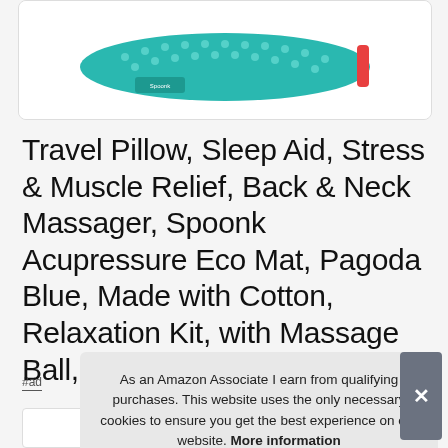[Figure (photo): Product image of Spoonk Acupressure mat in teal/blue color inside a white rounded-corner box]
Travel Pillow, Sleep Aid, Stress & Muscle Relief, Back & Neck Massager, Spoonk Acupressure Eco Mat, Pagoda Blue, Made with Cotton, Relaxation Kit, with Massage Ball, Travel Mat & Sling Bag
#ad
As an Amazon Associate I earn from qualifying purchases. This website uses the only necessary cookies to ensure you get the best experience on our website. More information